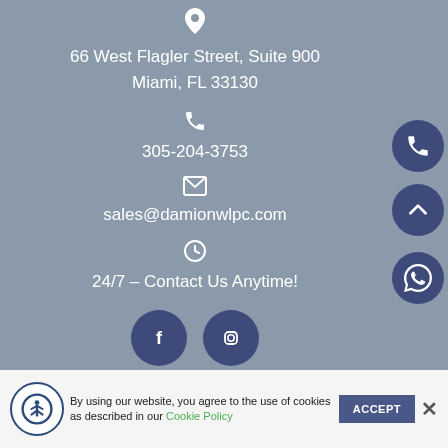[Figure (infographic): Map pin icon in white]
66 West Flagler Street, Suite 900
Miami, FL 33130
[Figure (infographic): Phone handset icon in white]
305-204-3753
[Figure (infographic): Envelope/email icon in white]
sales@damionwlpc.com
[Figure (infographic): Clock icon in white]
24/7 – Contact Us Anytime!
[Figure (infographic): Social media buttons: Facebook and Instagram circles, plus side buttons for phone, scroll-up, and WhatsApp]
By using our website, you agree to the use of cookies as described in our Cookie Policy
ACCEPT